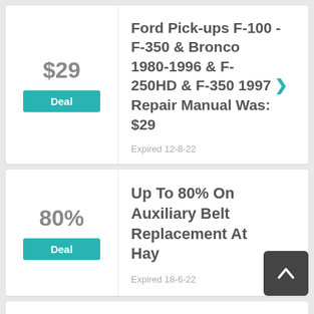$29
Deal
Ford Pick-ups F-100 - F-350 & Bronco 1980-1996 & F-250HD & F-350 1997 Repair Manual Was: $29
Expired 12-8-22
80%
Deal
Up To 80% On Auxiliary Belt Replacement At Hay
Expired 18-6-22